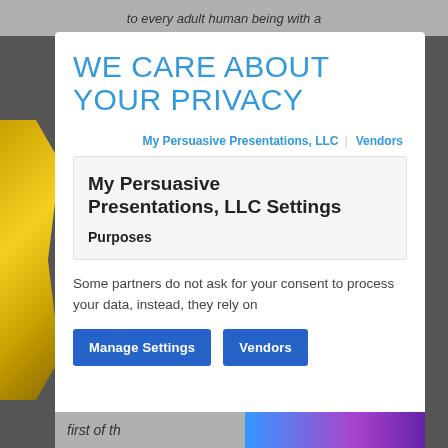to every adult human being with a
WE CARE ABOUT YOUR PRIVACY
My Persuasive Presentations, LLC   Vendors
My Persuasive Presentations, LLC Settings
Purposes
Some partners do not ask for your consent to process your data, instead, they rely on
Manage Settings   Vendors
first of th